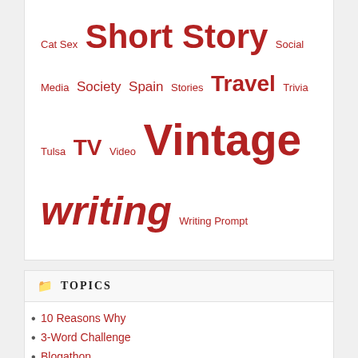Cat Sex Short Story Social Media Society Spain Stories Travel Trivia Tulsa TV Video Vintage writing Writing Prompt
TOPICS
10 Reasons Why
3-Word Challenge
Blogathon
Blogger Spotlight
Blogging
Childhood
Flash Fiction
Guest Post
Holidays
Hope
Humor
Idiot Fondue